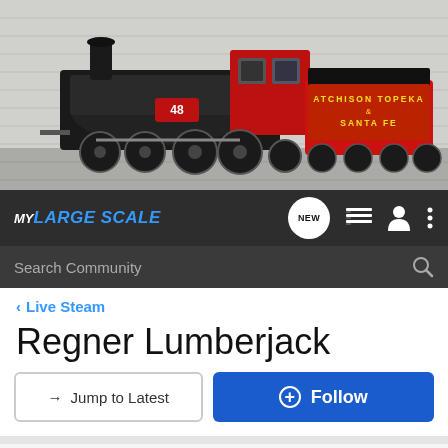[Figure (photo): Banner photograph of a model train — black and red steam locomotive numbered 48 with a red tender labeled 'Atchison Topeka & Santa Fe', against a brick wall background]
MY LARGE SCALE — navigation bar with NEW button, list icon, user icon, and menu icon
Search Community
< Live Steam
Regner Lumberjack
→ Jump to Latest
+ Follow
1 - 7 of 7 Posts
Dave Sykes · Premium Member
Joined Jan 2, 2008 · 26 Posts